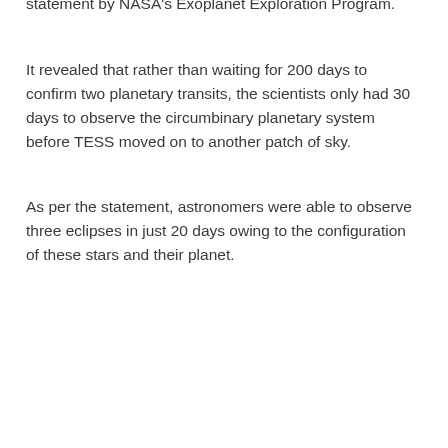statement by NASA's Exoplanet Exploration Program.
It revealed that rather than waiting for 200 days to confirm two planetary transits, the scientists only had 30 days to observe the circumbinary planetary system before TESS moved on to another patch of sky.
As per the statement, astronomers were able to observe three eclipses in just 20 days owing to the configuration of these stars and their planet.